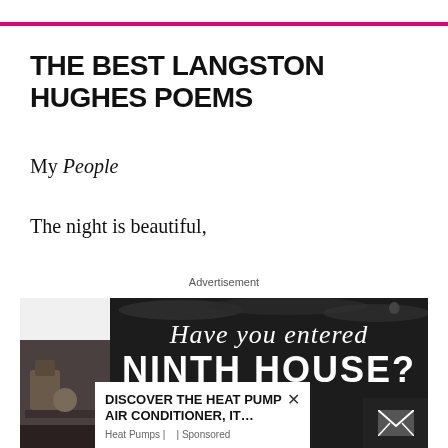THE BEST LANGSTON HUGHES POEMS
My People
The night is beautiful,
Advertisement
[Figure (photo): Advertisement image for 'Ninth House' book with text 'Have you entered NINTH HOUSE?' overlaid on dark background with snake imagery. A popup ad overlay reads 'DISCOVER THE HEAT PUMP AIR CONDITIONER, IT...' with Heat Pumps | Sponsored label. A small photo of a person working on equipment is visible bottom left. An email icon is visible bottom right.]